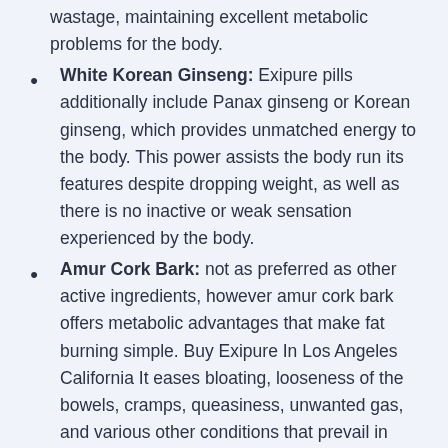wastage, maintaining excellent metabolic problems for the body.
White Korean Ginseng: Exipure pills additionally include Panax ginseng or Korean ginseng, which provides unmatched energy to the body. This power assists the body run its features despite dropping weight, as well as there is no inactive or weak sensation experienced by the body.
Amur Cork Bark: not as preferred as other active ingredients, however amur cork bark offers metabolic advantages that make fat burning simple. Buy Exipure In Los Angeles California It eases bloating, looseness of the bowels, cramps, queasiness, unwanted gas, and various other conditions that prevail in